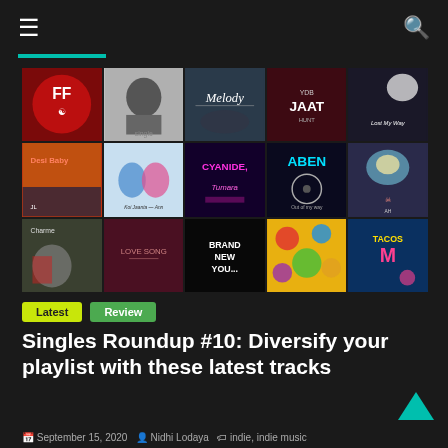≡  [search icon]
[Figure (photo): 3x5 grid of music single album covers including: robot graphic (red), black and white portrait, Melody single cover, JAAT single (red/dark), Lost My Way illustration, Desi Baby sunset, cartoon couple illustration, CYANIDE - Tumara neon, ABEN - Out of my way, skull illustration, Charme photo, Love Song dark red, Brand New You dark, colorful illustrated track, TACOS neon]
Latest
Review
Singles Roundup #10: Diversify your playlist with these latest tracks
September 15, 2020   Nidhi Lodaya   indie, indie music